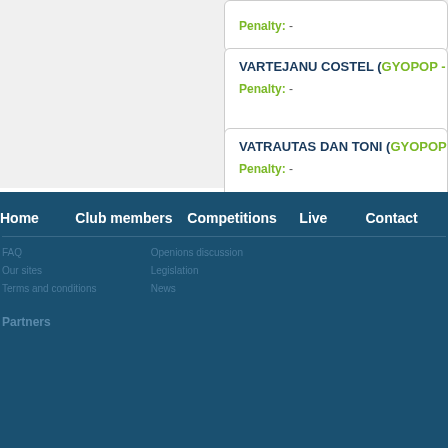Penalty: -
VARTEJANU COSTEL (GYOPOP - BIL...)
Penalty: -
VATRAUTAS DAN TONI (GYOPOP - B...)
Penalty: -
Home
Club members
Competitions
Live
Contact
FAQ
Our sites
Terms and conditions
Openions discussion
Legislation
News
Partners